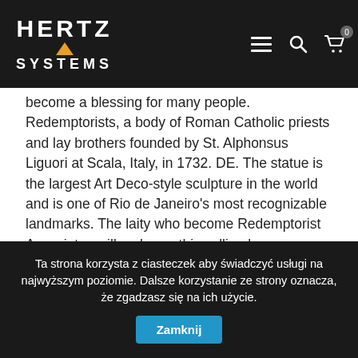Hertz Systems - logo and navigation bar
become a blessing for many people. Redemptorists, a body of Roman Catholic priests and lay brothers founded by St. Alphonsus Liguori at Scala, Italy, in 1732. DE. The statue is the largest Art Deco-style sculpture in the world and is one of Rio de Janeiro's most recognizable landmarks. The laity who become Redemptorist Associates will embrace this calling by participating in a C.Ss.R. His work, which varied from cleaning and cooking to giving spiritual advice, was an inspiration to all. Redemptorist. Contact Fr. Life as a Redemptorist. Here you can visit the Redemptorist Monastery in Wittem, which has become a famous place of pilgrimage in the past few years. Nutzen Sie die weltweit besten KI-basierten Übersetzer für Ihre Texte, entwickelt von den Machern von Linguee. " The Infant Jesus, far from being sorrowful at this proposal, is pleased at it, accepts it with love, and exults in it! You must have lived at this residence for 90 days or more. Our Mission. If
Ta strona korzysta z ciasteczek aby świadczyć usługi na najwyższym poziomie. Dalsze korzystanie ze strony oznacza, że zgadzasz się na ich użycie. Zamknij